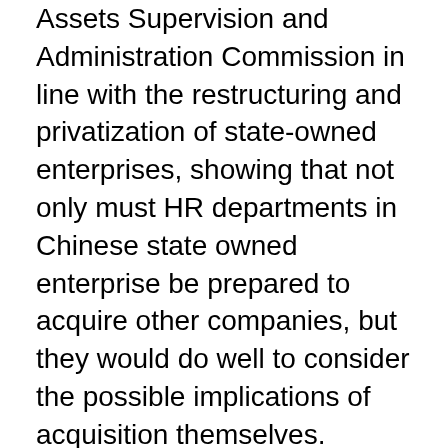Assets Supervision and Administration Commission in line with the restructuring and privatization of state-owned enterprises, showing that not only must HR departments in Chinese state owned enterprise be prepared to acquire other companies, but they would do well to consider the possible implications of acquisition themselves.
Meyer takes another approach to the topic, using an understanding of the allocation processes in mergers and acquisitions by applying an organizational justice perspective.
This literature review will seek to research, analyse and evaluate two areas in human resource management (HRM) relating to Ethics and HRM, and Employment relations. This free Management essay on Essay: Human resources management is perfect for Management students to use as an example.
English literature essays; Environmental studies essays; Human resource management has moved from traditional